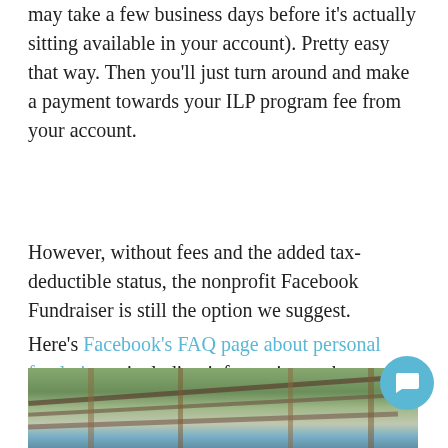may take a few business days before it's actually sitting available in your account). Pretty easy that way. Then you'll just turn around and make a payment towards your ILP program fee from your account.
However, without fees and the added tax-deductible status, the nonprofit Facebook Fundraiser is still the option we suggest.
Here's Facebook's FAQ page about personal fundraisers, including information on how you can start one if you'd like to go this route.
[Figure (photo): Photo showing an outdoor structure with wooden beams/trellis framing against trees and blue sky, partial view at bottom of page]